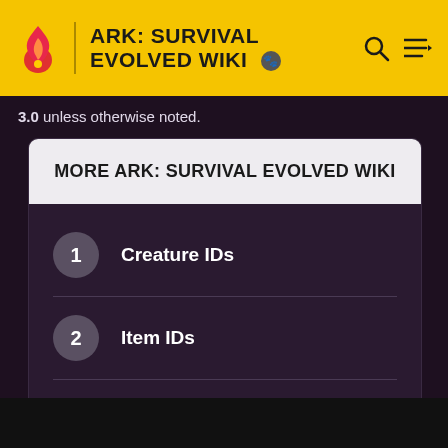ARK: SURVIVAL EVOLVED WIKI
3.0 unless otherwise noted.
MORE ARK: SURVIVAL EVOLVED WIKI
1 Creature IDs
2 Item IDs
3 Mod:Fjordur/Resource Map